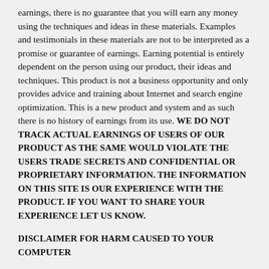earnings, there is no guarantee that you will earn any money using the techniques and ideas in these materials. Examples and testimonials in these materials are not to be interpreted as a promise or guarantee of earnings. Earning potential is entirely dependent on the person using our product, their ideas and techniques. This product is not a business opportunity and only provides advice and training about Internet and search engine optimization. This is a new product and system and as such there is no history of earnings from its use. WE DO NOT TRACK ACTUAL EARNINGS OF USERS OF OUR PRODUCT AS THE SAME WOULD VIOLATE THE USERS TRADE SECRETS AND CONFIDENTIAL OR PROPRIETARY INFORMATION. THE INFORMATION ON THIS SITE IS OUR EXPERIENCE WITH THE PRODUCT. IF YOU WANT TO SHARE YOUR EXPERIENCE LET US KNOW.
DISCLAIMER FOR HARM CAUSED TO YOUR COMPUTER